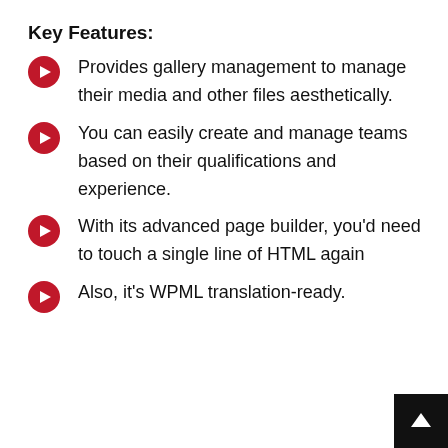Key Features:
Provides gallery management to manage their media and other files aesthetically.
You can easily create and manage teams based on their qualifications and experience.
With its advanced page builder, you'd need to touch a single line of HTML again
Also, it's WPML translation-ready.